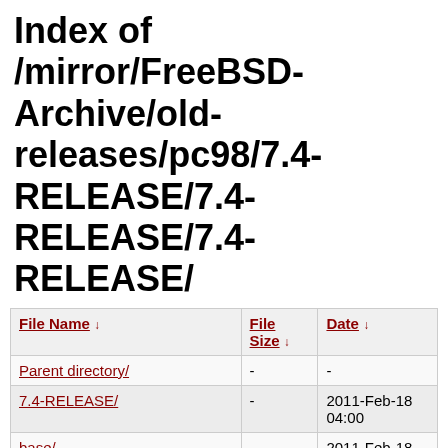Index of /mirror/FreeBSD-Archive/old-releases/pc98/7.4-RELEASE/7.4-RELEASE/7.4-RELEASE/
| File Name ↓ | File Size ↓ | Date ↓ |
| --- | --- | --- |
| Parent directory/ | - | - |
| 7.4-RELEASE/ | - | 2011-Feb-18 04:00 |
| base/ | - | 2011-Feb-18 03:24 |
| catpages/ | - | 2011-Feb-18 03:24 |
| dict/ | - | 2011-Feb-18 03:24 |